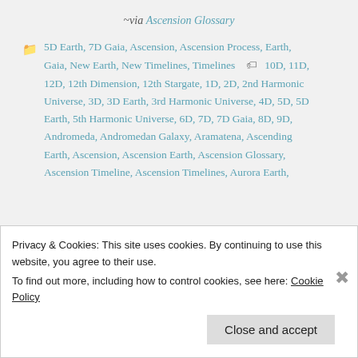~via Ascension Glossary
5D Earth, 7D Gaia, Ascension, Ascension Process, Earth, Gaia, New Earth, New Timelines, Timelines  10D, 11D, 12D, 12th Dimension, 12th Stargate, 1D, 2D, 2nd Harmonic Universe, 3D, 3D Earth, 3rd Harmonic Universe, 4D, 5D, 5D Earth, 5th Harmonic Universe, 6D, 7D, 7D Gaia, 8D, 9D, Andromeda, Andromedan Galaxy, Aramatena, Ascending Earth, Ascension, Ascension Earth, Ascension Glossary, Ascension Timeline, Ascension Timelines, Aurora Earth,
Privacy & Cookies: This site uses cookies. By continuing to use this website, you agree to their use.
To find out more, including how to control cookies, see here: Cookie Policy
Close and accept